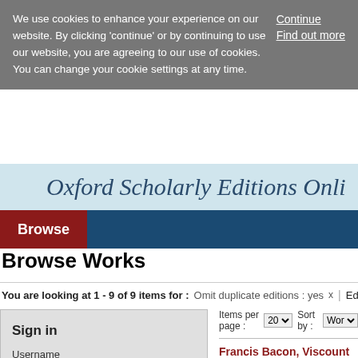We use cookies to enhance your experience on our website. By clicking 'continue' or by continuing to use our website, you are agreeing to our use of cookies. You can change your cookie settings at any time.
Continue
Find out more
[Figure (screenshot): Oxford Scholarly Editions Online header logo with light blue background and decorative swirl pattern]
Browse
Browse Works
You are looking at 1 - 9 of 9 items for :   Omit duplicate editions : yes  x  |  Editor:
Items per page : 20 ▾   Sort by : Work
Sign in
Username
Username
Password
Loading [MathJax]/extensions/MathZoom.js
Francis Bacon, Viscount
in Graham Rees (ed.), The Oxfor
Published in print: 1996